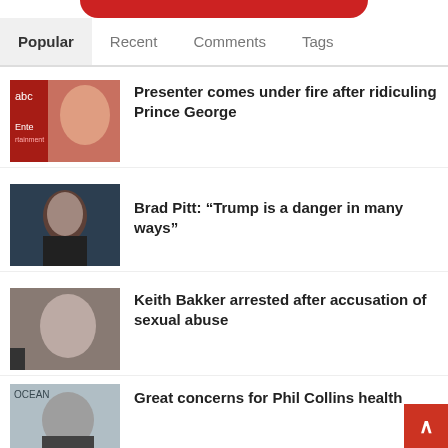[Figure (screenshot): Red logo bar at top of news website]
Popular | Recent | Comments | Tags
Presenter comes under fire after ridiculing Prince George
Brad Pitt: “Trump is a danger in many ways”
Keith Bakker arrested after accusation of sexual abuse
Great concerns for Phil Collins health